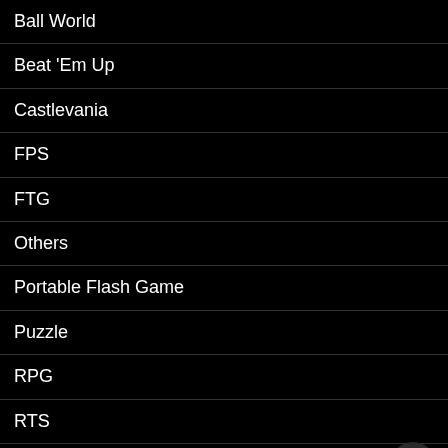Ball World
Beat 'Em Up
Castlevania
FPS
FTG
Others
Portable Flash Game
Puzzle
RPG
RTS
Sango
Sea War
Shoot 'Em Up